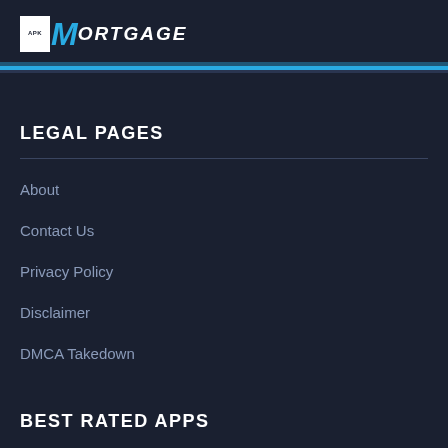[Figure (logo): APK Mortgage logo with stylized M in blue and white text]
LEGAL PAGES
About
Contact Us
Privacy Policy
Disclaimer
DMCA Takedown
BEST RATED APPS